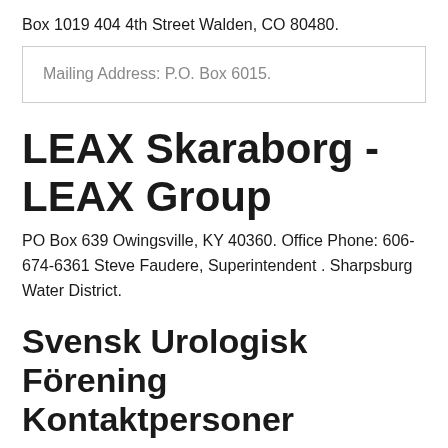Box 1019 404 4th Street Walden, CO 80480.
Mailing Address: P.O. Box 6015.
LEAX Skaraborg - LEAX Group
PO Box 639 Owingsville, KY 40360. Office Phone: 606-674-6361 Steve Faudere, Superintendent . Sharpsburg Water District.
Svensk Urologisk Förening Kontaktpersoner